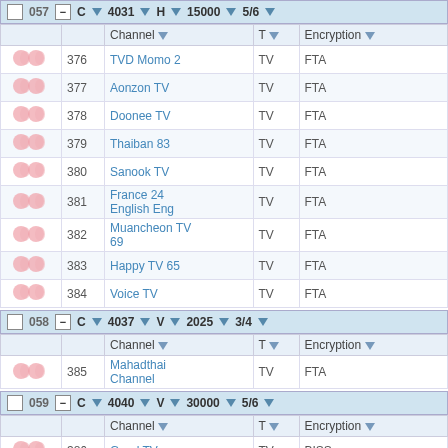|  |  | Channel | T | Encryption |
| --- | --- | --- | --- | --- |
| icons | 376 | TVD Momo 2 | TV | FTA |
| icons | 377 | Aonzon TV | TV | FTA |
| icons | 378 | Doonee TV | TV | FTA |
| icons | 379 | Thaiban 83 | TV | FTA |
| icons | 380 | Sanook TV | TV | FTA |
| icons | 381 | France 24 English Eng | TV | FTA |
| icons | 382 | Muancheon TV 69 | TV | FTA |
| icons | 383 | Happy TV 65 | TV | FTA |
| icons | 384 | Voice TV | TV | FTA |
058 - C 4037 V 2025 3/4
|  |  | Channel | T | Encryption |
| --- | --- | --- | --- | --- |
| icons | 385 | Mahadthai Channel | TV | FTA |
059 - C 4040 V 30000 5/6
|  |  | Channel | T | Encryption |
| --- | --- | --- | --- | --- |
| icons | 386 | Good TV | TV | BISS |
| icons | 387 | Thai Station | TV | BISS |
| icons | 388 | Good Living | TV | BISS |